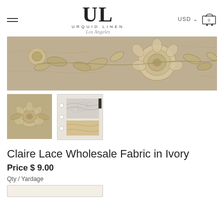Urquid Linen Los Angeles — USD — Cart
[Figure (photo): Close-up photograph of ivory/champagne floral embroidered lace fabric showing detailed flower and leaf patterns]
[Figure (photo): Thumbnail of ivory embroidered lace fabric close-up]
[Figure (photo): Thumbnail of fabric swatch card showing ivory lace samples]
Claire Lace Wholesale Fabric in Ivory
Price $ 9.00
Qty / Yardage